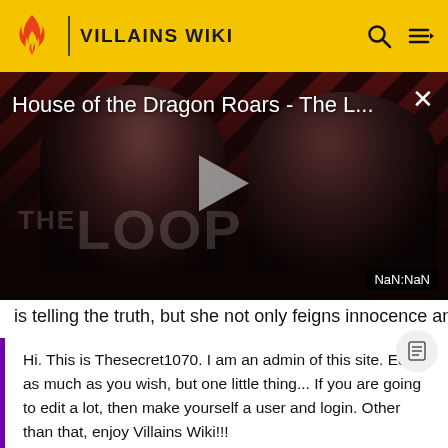VILLAINS WIKI
[Figure (screenshot): Video player showing 'House of the Dragon Roars - The L...' with a dark background featuring two shadowy figures, diagonal red/dark stripes at top, THE LOOP watermark, a play button, and NaN:NaN time display]
is telling the truth, but she not only feigns innocence an
Hi. This is Thesecret1070. I am an admin of this site. Edit as much as you wish, but one little thing... If you are going to edit a lot, then make yourself a user and login. Other than that, enjoy Villains Wiki!!!